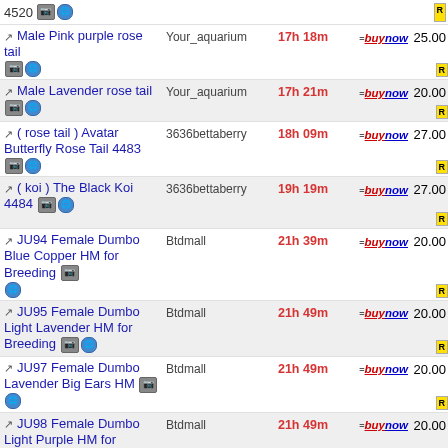4520 | [camera] [globe] | R
Male Pink purple rose tail [camera][globe] | Your_aquarium | 17h 18m | buynow | 25.00 | R
Male Lavender rose tail [camera][globe] | Your_aquarium | 17h 21m | buynow | 20.00 | R
( rose tail ) Avatar Butterfly Rose Tail 4483 [camera][globe] | 3636bettaberry | 18h 09m | buynow | 27.00 | R
( koi ) The Black Koi 4484 [camera][globe] | 3636bettaberry | 19h 19m | buynow | 27.00 | R
JU94 Female Dumbo Blue Copper HM for Breeding [camera][globe] | Btdmall | 21h 39m | buynow | 20.00 | R
JU95 Female Dumbo Light Lavender HM for Breeding [camera][globe] | Btdmall | 21h 49m | buynow | 20.00 | R
JU97 Female Dumbo Lavender Big Ears HM [camera][globe] | Btdmall | 21h 49m | buynow | 20.00 | R
JU98 Female Dumbo Light Purple HM for Breeding [camera][globe] | Btdmall | 21h 49m | buynow | 20.00 | R
JU99 Female Dumbo Brown Light Blue HM [camera][globe] | Btdmall | 21h 49m | buynow | 20.00 | R
JU101 Dumbo Purple HM Big Ears Premium Grade [camera][globe] | Btdmall | 23h 29m | buynow | 20.00 | R
JU102 Male Dumbo Lavender HM Premium | Btdmall | 23h 49m | buynow | 18.00 | R